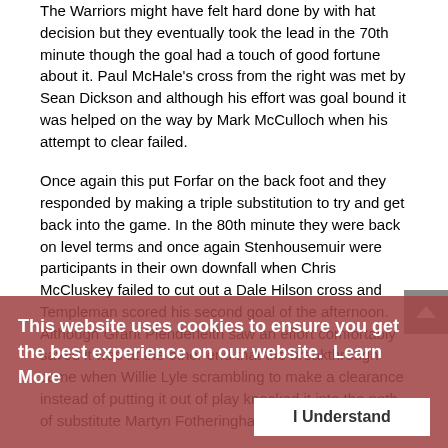The Warriors might have felt hard done by with hat decision but they eventually took the lead in the 70th minute though the goal had a touch of good fortune about it. Paul McHale's cross from the right was met by Sean Dickson and although his effort was goal bound it was helped on the way by Mark McCulloch when his attempt to clear failed.
Once again this put Forfar on the back foot and they responded by making a triple substitution to try and get back into the game. In the 80th minute they were back on level terms and once again Stenhousemuir were participants in their own downfall when Chris McCluskey failed to cut out a Dale Hilson cross and Templeman scored his second goal of the afternoon. Although Grant Plenderleith saw an effort comfortably saved it was at the other end that the breakthrough came when Willie Lyle scrambling to make a clearance instead of putting it out of play knocked it into the path of substitute Martyn Fotheringham and he steered his
This then was an disastrous performance by a team that have so far stumbled into 2012 but credit must be
This website uses cookies to ensure you get the best experience on our website.  Learn More